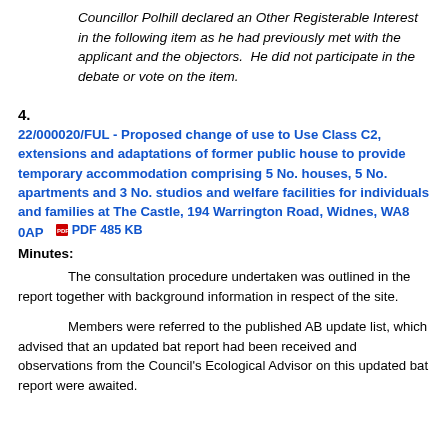Councillor Polhill declared an Other Registerable Interest in the following item as he had previously met with the applicant and the objectors. He did not participate in the debate or vote on the item.
4.
22/000020/FUL - Proposed change of use to Use Class C2, extensions and adaptations of former public house to provide temporary accommodation comprising 5 No. houses, 5 No. apartments and 3 No. studios and welfare facilities for individuals and families at The Castle, 194 Warrington Road, Widnes, WA8 0AP  PDF 485 KB
Minutes:
The consultation procedure undertaken was outlined in the report together with background information in respect of the site.
Members were referred to the published AB update list, which advised that an updated bat report had been received and observations from the Council's Ecological Advisor on this updated bat report were awaited.